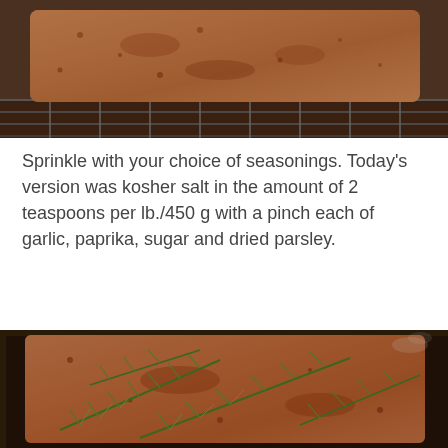[Figure (photo): Seasoned pork loin or roast viewed from above, coated with a dry rub of salt and spices, placed on a wire rack.]
Sprinkle with your choice of seasonings. Today’s version was kosher salt in the amount of 2 teaspoons per lb./450 g with a pinch each of garlic, paprika, sugar and dried parsley.
[Figure (photo): Seasoned pork roast coated with spice rub and topped with fresh rosemary sprigs, placed in a dark roasting pan.]